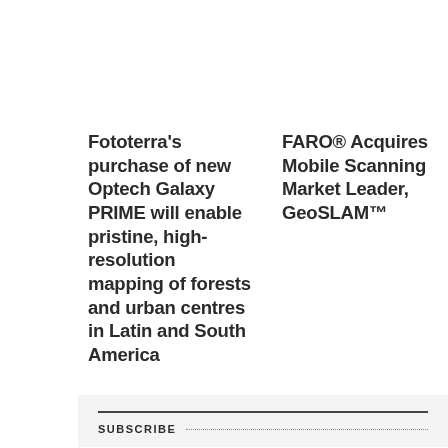Fototerra's purchase of new Optech Galaxy PRIME will enable pristine, high-resolution mapping of forests and urban centres in Latin and South America
FARO® Acquires Mobile Scanning Market Leader, GeoSLAM™
SUBSCRIBE